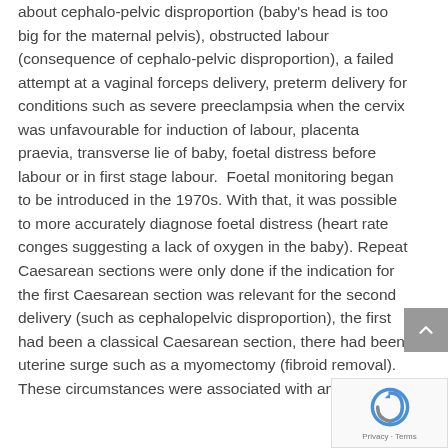about cephalo-pelvic disproportion (baby's head is too big for the maternal pelvis), obstructed labour (consequence of cephalo-pelvic disproportion), a failed attempt at a vaginal forceps delivery, preterm delivery for conditions such as severe preeclampsia when the cervix was unfavourable for induction of labour, placenta praevia, transverse lie of baby, foetal distress before labour or in first stage labour. Foetal monitoring began to be introduced in the 1970s. With that, it was possible to more accurately diagnose foetal distress (heart rate conges suggesting a lack of oxygen in the baby). Repeat Caesarean sections were only done if the indication for the first Caesarean section was relevant for the second delivery (such as cephalopelvic disproportion), the first had been a classical Caesarean section, there had been uterine surge such as a myomectomy (fibroid removal). These circumstances were associated with an increased